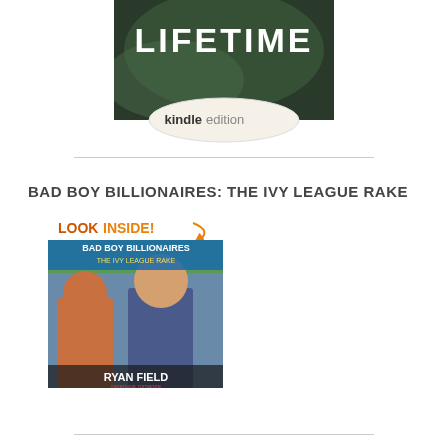[Figure (photo): Book cover showing 'LIFETIME' text at top with dark background imagery, and a 'kindle edition' badge/sticker at the bottom.]
[Figure (other): Horizontal divider line]
BAD BOY BILLIONAIRES: THE IVY LEAGUE RAKE
[Figure (photo): Book cover for 'Bad Boy Billionaires: The Ivy League Rake' by Ryan Field, showing two men on the cover with a 'LOOK INSIDE!' banner. Published by Ravenous Romance.]
[Figure (other): Horizontal divider line at bottom]